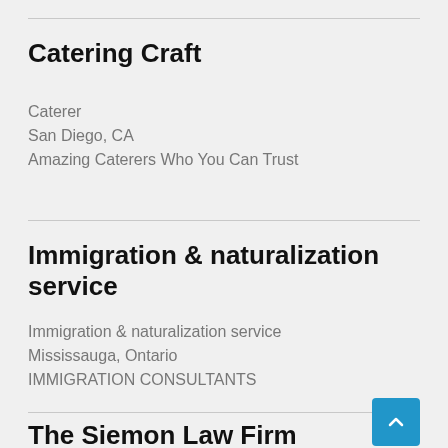Catering Craft
Caterer
San Diego, CA
Amazing Caterers Who You Can Trust
Immigration & naturalization service
Immigration & naturalization service
Mississauga, Ontario
IMMIGRATION CONSULTANTS
The Siemon Law Firm